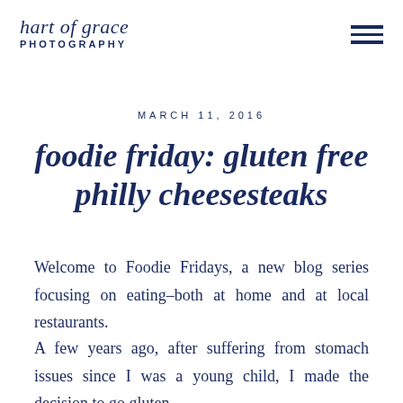hart of grace PHOTOGRAPHY
MARCH 11, 2016
foodie friday: gluten free philly cheesesteaks
Welcome to Foodie Fridays, a new blog series focusing on eating–both at home and at local restaurants.
A few years ago, after suffering from stomach issues since I was a young child, I made the decision to go gluten